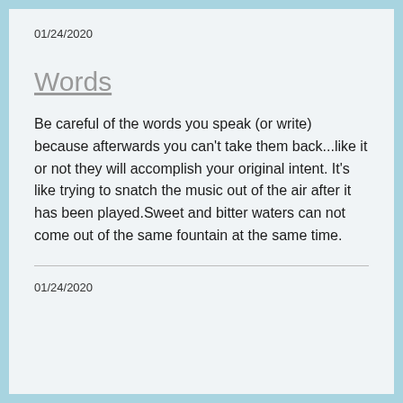01/24/2020
Words
Be careful of the words you speak (or write) because afterwards you can't take them back...like it or not they will accomplish your original intent. It's like trying to snatch the music out of the air after it has been played.Sweet and bitter waters can not come out of the same fountain at the same time.
01/24/2020